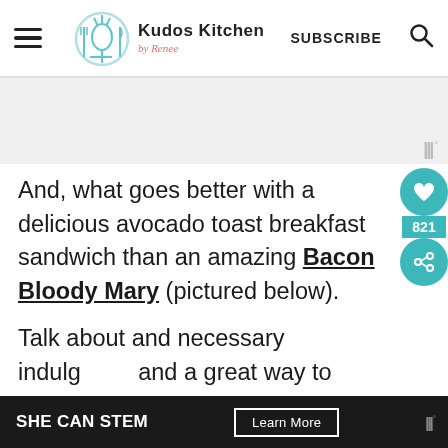Kudos Kitchen by Renee — SUBSCRIBE
[Figure (other): Gray advertisement placeholder area with Mediavine badge in bottom right corner]
And, what goes better with a delicious avocado toast breakfast sandwich than an amazing Bacon Bloody Mary (pictured below).
[Figure (other): Teal social sidebar with heart icon, share count 821, and share icon]
[Figure (other): Popup overlay with image of Bacon, Egg, and Chedda... recipe]
Talk about and necessary indulg... and a great way to start any special day!
[Figure (other): Bottom advertisement bar: SHE CAN STEM — Learn More button]